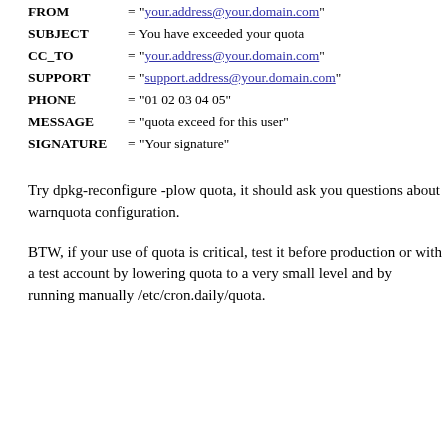FROM = "your.address@your.domain.com"
SUBJECT = You have exceeded your quota
CC_TO = "your.address@your.domain.com"
SUPPORT = "support.address@your.domain.com"
PHONE = "01 02 03 04 05"
MESSAGE = "quota exceed for this user"
SIGNATURE = "Your signature"
Try dpkg-reconfigure -plow quota, it should ask you questions about warnquota configuration.
BTW, if your use of quota is critical, test it before production or with a test account by lowering quota to a very small level and by running manually /etc/cron.daily/quota.